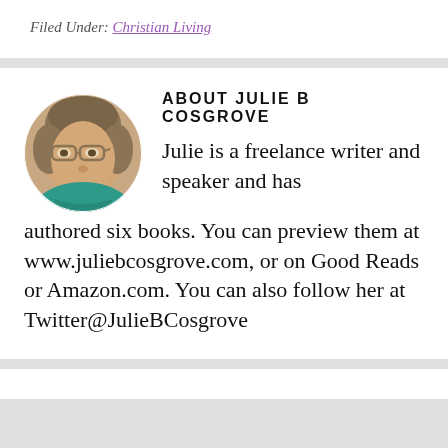Filed Under: Christian Living
[Figure (photo): Circular profile photo of Julie B Cosgrove, a middle-aged woman with glasses and teal clothing]
ABOUT JULIE B COSGROVE
Julie is a freelance writer and speaker and has authored six books. You can preview them at www.juliebcosgrove.com, or on Good Reads or Amazon.com. You can also follow her at Twitter@JulieBCosgrove